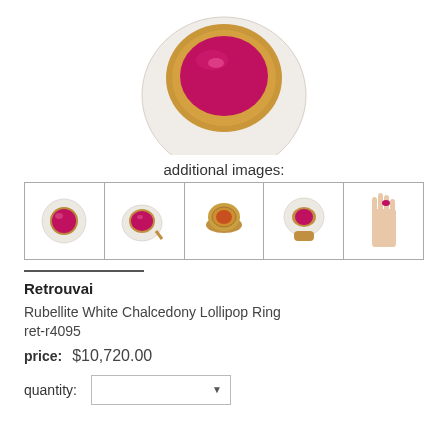[Figure (photo): Close-up top view of a Rubellite White Chalcedony Lollipop Ring showing a large oval deep pink/red gemstone set in a white chalcedony disc with gold bezel, partially cropped at top]
additional images:
[Figure (photo): Row of five thumbnail images of the ring from different angles: front/top, side angle, bottom/underside, profile, and worn on a hand]
Retrouvai
Rubellite White Chalcedony Lollipop Ring
ret-r4095
price:   $10,720.00
quantity: